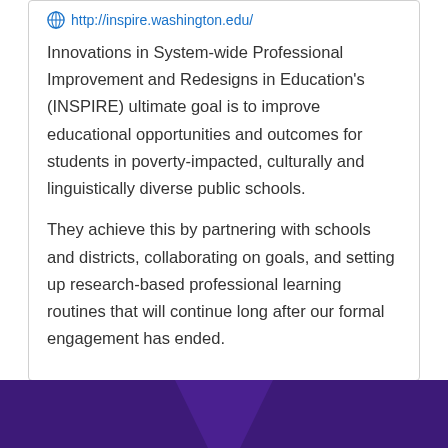http://inspire.washington.edu/
Innovations in System-wide Professional Improvement and Redesigns in Education's (INSPIRE) ultimate goal is to improve educational opportunities and outcomes for students in poverty-impacted, culturally and linguistically diverse public schools.
They achieve this by partnering with schools and districts, collaborating on goals, and setting up research-based professional learning routines that will continue long after our formal engagement has ended.
[Figure (illustration): Purple banner/footer with decorative trapezoid shape in center, purple background across full width]